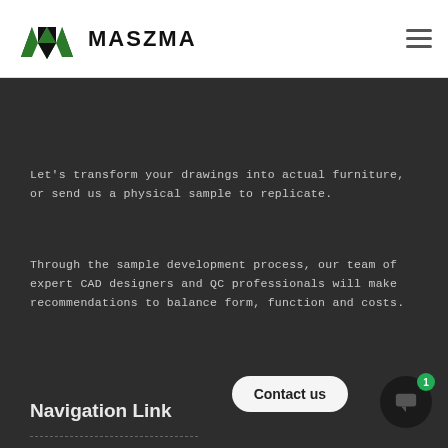[Figure (logo): MASZMA company logo with green and black stylized M shape, followed by bold text MASZMA]
Let's transform your drawings into actual furniture, or send us a physical sample to replicate.
Through the sample development process, our team of expert CAD designers and QC professionals will make recommendations to balance form, function and costs.
Navigation Link
Furniture
Our Factory